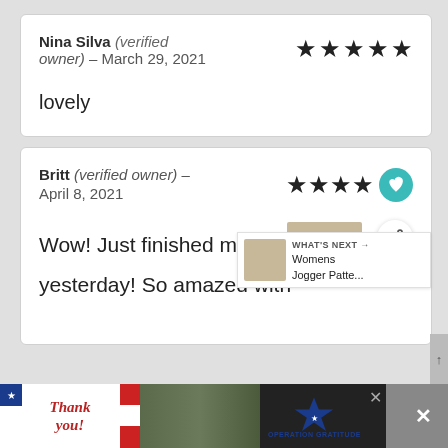Nina Silva (verified owner) – March 29, 2021
[Figure (other): 5-star rating with filled black stars]
lovely
Britt (verified owner) – April 8, 2021
[Figure (other): 4-star rating with filled black stars plus teal heart button and share button]
Wow! Just finished my firs[t] yesterday! So amazed with
[Figure (infographic): What's Next overlay with jogger pattern thumbnail and text 'Womens Jogger Patte...']
[Figure (photo): Bottom advertisement bar: Thank you military appreciation Operation Gratitude ad]